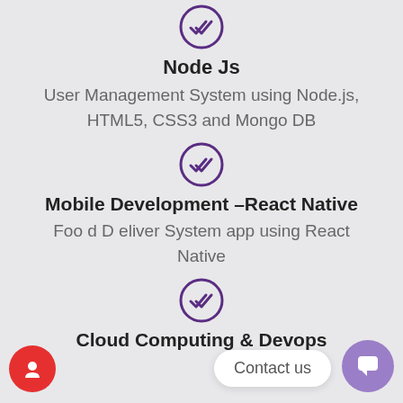[Figure (illustration): Purple circle with double checkmark icon]
Node Js
User Management System using Node.js, HTML5, CSS3 and Mongo DB
[Figure (illustration): Purple circle with double checkmark icon]
Mobile Development –React Native
Foo d D eliver System app using React Native
[Figure (illustration): Purple circle with double checkmark icon]
Cloud Computing & Devops